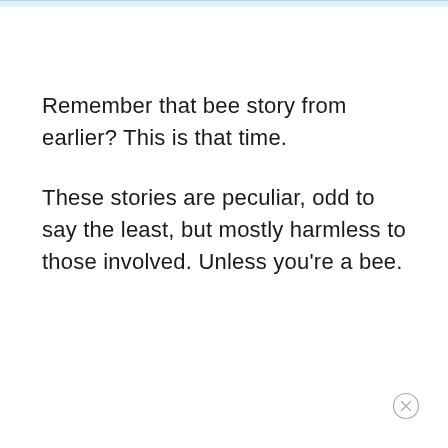Remember that bee story from earlier? This is that time.
These stories are peculiar, odd to say the least, but mostly harmless to those involved. Unless you're a bee.